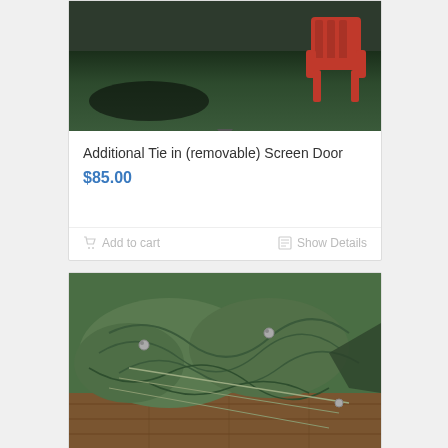[Figure (photo): Product photo showing green grass lawn area with a red plastic Adirondack chair, partially cropped at top.]
Additional Tie in (removable) Screen Door
$85.00
Add to cart
Show Details
[Figure (photo): Photo of a folded green canvas/tarp material with grommets, laid on a wooden deck floor.]